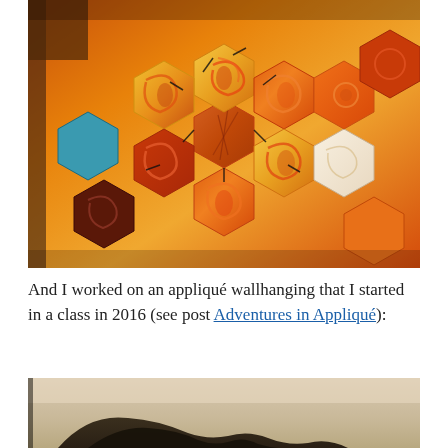[Figure (photo): Close-up photo of hexagonal quilt fabric pieces in orange, yellow, white, red, and blue patterns arranged together, with visible basting stitches/pins holding the pieces.]
And I worked on an appliqué wallhanging that I started in a class in 2016 (see post Adventures in Appliqué):
[Figure (photo): Partial photo of an appliqué wallhanging showing a dark silhouette shape against a light background.]